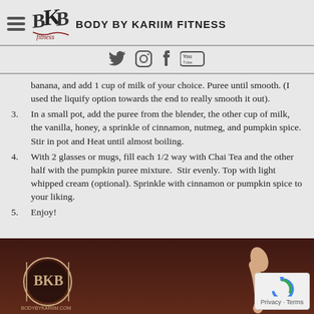BODY BY KARIIM FITNESS
banana, and add 1 cup of milk of your choice. Puree until smooth. (I used the liquify option towards the end to really smooth it out).
3. In a small pot, add the puree from the blender, the other cup of milk, the vanilla, honey, a sprinkle of cinnamon, nutmeg, and pumpkin spice. Stir in pot and Heat until almost boiling.
4. With 2 glasses or mugs, fill each 1/2 way with Chai Tea and the other half with the pumpkin puree mixture.  Stir evenly. Top with light whipped cream (optional). Sprinkle with cinnamon or pumpkin spice to your liking.
5. Enjoy!
[Figure (photo): Bottom portion showing a food/recipe image with BKB logo and a hand, dark reddish-brown background]